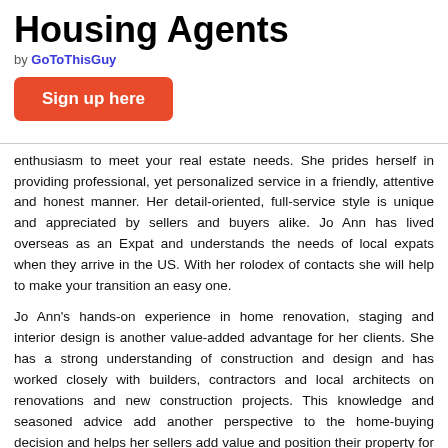Housing Agents
by GoToThisGuy
Sign up here
enthusiasm to meet your real estate needs. She prides herself in providing professional, yet personalized service in a friendly, attentive and honest manner. Her detail-oriented, full-service style is unique and appreciated by sellers and buyers alike. Jo Ann has lived overseas as an Expat and understands the needs of local expats when they arrive in the US. With her rolodex of contacts she will help to make your transition an easy one.
Jo Ann's hands-on experience in home renovation, staging and interior design is another value-added advantage for her clients. She has a strong understanding of construction and design and has worked closely with builders, contractors and local architects on renovations and new construction projects. This knowledge and seasoned advice add another perspective to the home-buying decision and helps her sellers add value and position their property for a timely and well priced sale.
If you are planning to buy or sell a home, now or in the near future, contact Jo Ann Byrne; her top priority is HELPING YOU